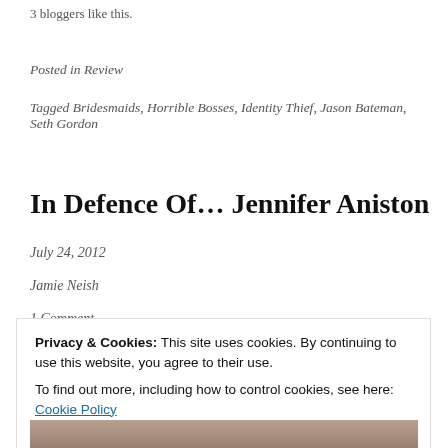3 bloggers like this.
Posted in Review
Tagged Bridesmaids, Horrible Bosses, Identity Thief, Jason Bateman, Seth Gordon
In Defence Of… Jennifer Aniston
July 24, 2012
Jamie Neish
1 Comment
Privacy & Cookies: This site uses cookies. By continuing to use this website, you agree to their use. To find out more, including how to control cookies, see here: Cookie Policy
Close and accept
[Figure (photo): Bottom portion of a photo, partially visible]